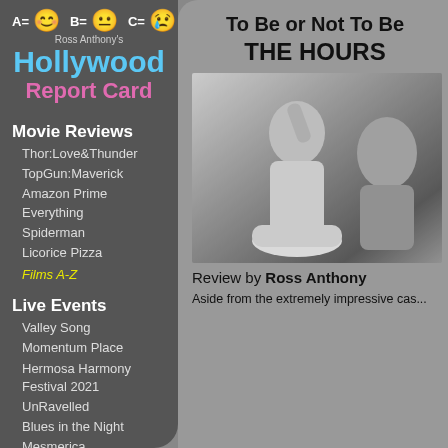[Figure (infographic): Rating legend: A= smiley face, B= neutral face, C= frown face]
Ross Anthony's
Hollywood Report Card
Movie Reviews
Thor:Love&Thunder
TopGun:Maverick
Amazon Prime Everything
Spiderman
Licorice Pizza
Films A-Z
Live Events
Valley Song
Momentum Place
Hermosa Harmony Festival 2021
UnRavelled
Blues in the Night
Mesmerica
To Be or Not To Be
THE HOURS
[Figure (photo): Black and white photo showing two people, a child reaching up and an adult woman, near a bowl]
Review by Ross Anthony
Aside from the extremely impressive cas...